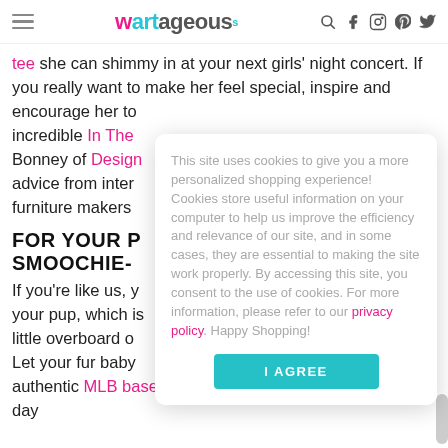wartageous (logo with hamburger menu and social icons)
tee she can shimmy in at your next girls' night concert. If you really want to make her feel special, inspire and encourage her to incredible In The Bonney of Design advice from inter furniture makers
FOR YOUR P SMOOCHIE-
If you're like us, y your pup, which is little overboard o Let your fur baby authentic MLB baseball pet jersey. Or treat him to a spa day
This site uses cookies to give you a more personalized shopping experience! Cookies store useful information on your computer to help us improve the efficiency and relevance of our site, and in some cases, they are essential to making the site work properly. By accessing this site, you consent to the use of cookies. For more information, please refer to our privacy policy. Happy Shopping!
I AGREE